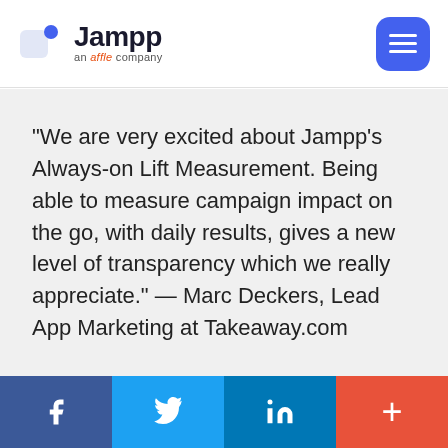[Figure (logo): Jampp logo - an affle company, with blue square icon and hamburger menu button]
“We are very excited about Jampp’s Always-on Lift Measurement. Being able to measure campaign impact on the go, with daily results, gives a new level of transparency which we really appreciate.” — Marc Deckers, Lead App Marketing at Takeaway.com
[Figure (infographic): Social media footer bar with Facebook, Twitter, LinkedIn, and plus buttons]